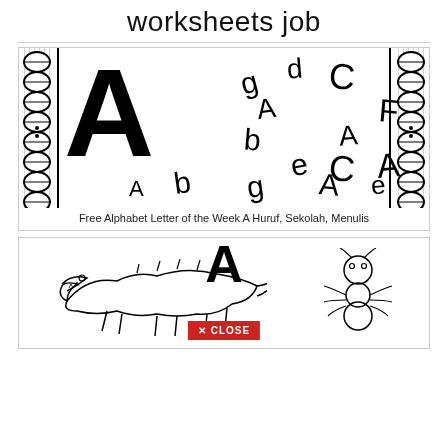worksheets job
[Figure (illustration): Alphabet worksheet showing a large letter A with scattered letters (g, A, b, d, C, b, e, F, A, A, C, A, A, b, g, A, e) scattered around it, with decorative DNA-like border patterns on left and right sides.]
Free Alphabet Letter of the Week A Huruf, Sekolah, Menulis
[Figure (illustration): Partial view of an alphabet worksheet showing an alligator outline drawing on the left, a large black letter A shape at top center, an ant outline drawing on the right, and a red CLOSE button at the bottom center.]